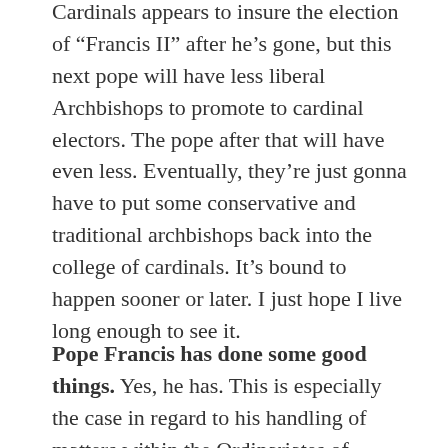Cardinals appears to insure the election of “Francis II” after he’s gone, but this next pope will have less liberal Archbishops to promote to cardinal electors. The pope after that will have even less. Eventually, they’re just gonna have to put some conservative and traditional archbishops back into the college of cardinals. It’s bound to happen sooner or later. I just hope I live long enough to see it.
Pope Francis has done some good things. Yes, he has. This is especially the case in regard to his handling of matters within the Ordinariates of Anglican Patrimony. (Though I wish he would approve our Daily Office, as we’ve been waiting